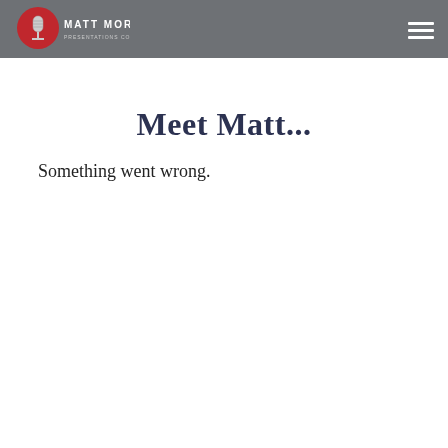Matt Moran – Presentations Coaching & Development
Meet Matt...
Something went wrong.